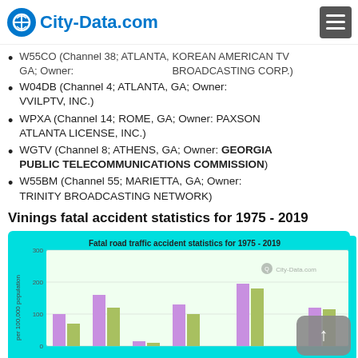City-Data.com
W55CO (Channel 38; ATLANTA, GA; Owner: KOREAN AMERICAN TV BROADCASTING CORP.)
W04DB (Channel 4; ATLANTA, GA; Owner: VVILPTV, INC.)
WPXA (Channel 14; ROME, GA; Owner: PAXSON ATLANTA LICENSE, INC.)
WGTV (Channel 8; ATHENS, GA; Owner: GEORGIA PUBLIC TELECOMMUNICATIONS COMMISSION)
W55BM (Channel 55; MARIETTA, GA; Owner: TRINITY BROADCASTING NETWORK)
Vinings fatal accident statistics for 1975 - 2019
[Figure (bar-chart): Bar chart showing fatal road traffic accident statistics for Vinings for 1975-2019, with bars in purple and green/olive colors. Y-axis goes from 0 to 300.]